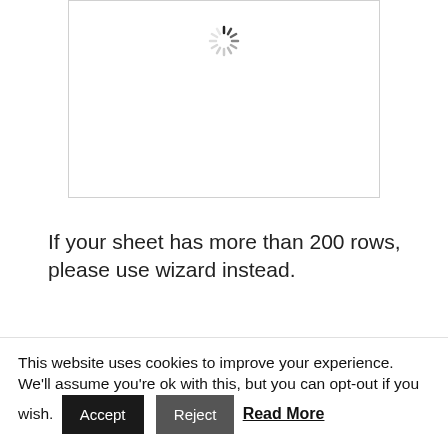[Figure (screenshot): A bordered white box with a loading spinner (circular dashed/radial spinner icon) centered near the top of the box.]
If your sheet has more than 200 rows, please use wizard instead.
This website uses cookies to improve your experience. We'll assume you're ok with this, but you can opt-out if you wish. Accept Reject Read More